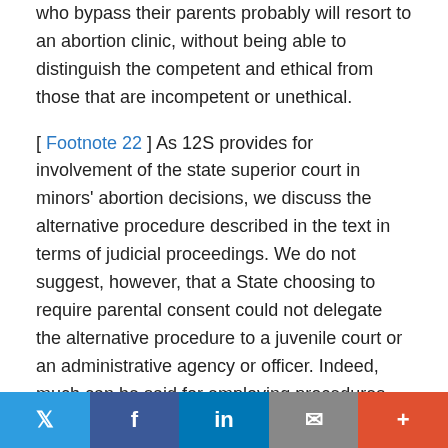who bypass their parents probably will resort to an abortion clinic, without being able to distinguish the competent and ethical from those that are incompetent or unethical.
[ Footnote 22 ] As 12S provides for involvement of the state superior court in minors' abortion decisions, we discuss the alternative procedure described in the text in terms of judicial proceedings. We do not suggest, however, that a State choosing to require parental consent could not delegate the alternative procedure to a juvenile court or an administrative agency or officer. Indeed, much can be said for employing procedures and a forum less formal than those associated with a court of general jurisdiction.
[ Footnote 23 ] The nature of both the State's interest in fostering parental authority and the problem of determining "maturity" makes clear why the State generally may resort to
Twitter | Facebook | in | Email | +